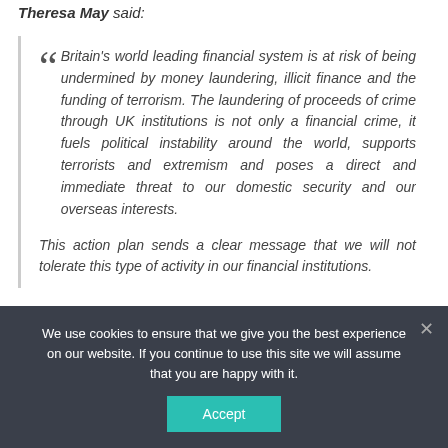Theresa May said:
Britain's world leading financial system is at risk of being undermined by money laundering, illicit finance and the funding of terrorism. The laundering of proceeds of crime through UK institutions is not only a financial crime, it fuels political instability around the world, supports terrorists and extremism and poses a direct and immediate threat to our domestic security and our overseas interests.

This action plan sends a clear message that we will not tolerate this type of activity in our financial institutions.
We use cookies to ensure that we give you the best experience on our website. If you continue to use this site we will assume that you are happy with it.
Accept